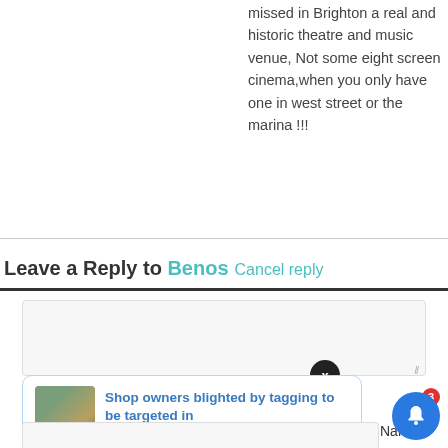missed in Brighton a real and historic theatre and music venue, Not some eight screen cinema,when you only have one in west street or the marina !!!
Leave a Reply to Benos Cancel reply
[Figure (screenshot): Empty comment textarea input box with light grey background and border]
[Figure (infographic): Notification card showing article 'Shop owners blighted by tagging to be targeted in' with thumbnail image and timestamp '5 hours ago']
Name